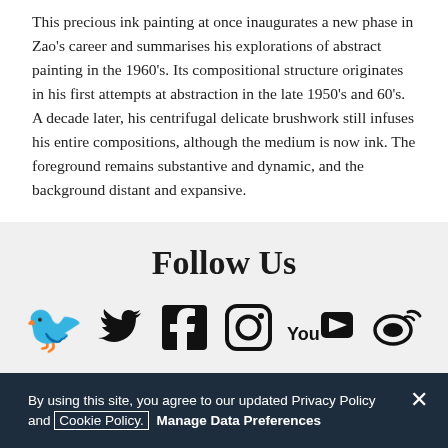This precious ink painting at once inaugurates a new phase in Zao's career and summarises his explorations of abstract painting in the 1960's. Its compositional structure originates in his first attempts at abstraction in the late 1950's and 60's. A decade later, his centrifugal delicate brushwork still infuses his entire compositions, although the medium is now ink. The foreground remains substantive and dynamic, and the background distant and expansive.
Follow Us
[Figure (infographic): Social media icons: Twitter, Facebook, Instagram, YouTube, Weibo]
By using this site, you agree to our updated Privacy Policy and Cookie Policy. Manage Data Preferences